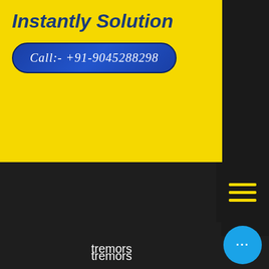Instantly Solution
Call:- +91-9045288298
tremors
weakness
memory loss
dizziness
fatigue
facial numbness
inability to sleep